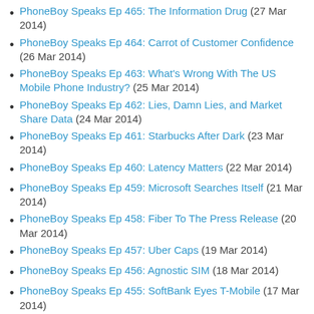PhoneBoy Speaks Ep 465: The Information Drug (27 Mar 2014)
PhoneBoy Speaks Ep 464: Carrot of Customer Confidence (26 Mar 2014)
PhoneBoy Speaks Ep 463: What's Wrong With The US Mobile Phone Industry? (25 Mar 2014)
PhoneBoy Speaks Ep 462: Lies, Damn Lies, and Market Share Data (24 Mar 2014)
PhoneBoy Speaks Ep 461: Starbucks After Dark (23 Mar 2014)
PhoneBoy Speaks Ep 460: Latency Matters (22 Mar 2014)
PhoneBoy Speaks Ep 459: Microsoft Searches Itself (21 Mar 2014)
PhoneBoy Speaks Ep 458: Fiber To The Press Release (20 Mar 2014)
PhoneBoy Speaks Ep 457: Uber Caps (19 Mar 2014)
PhoneBoy Speaks Ep 456: Agnostic SIM (18 Mar 2014)
PhoneBoy Speaks Ep 455: SoftBank Eyes T-Mobile (17 Mar 2014)
PhoneBoy Speaks Ep 454: Compromised News Network (16 Mar 2014)
PhoneBoy Speaks Ep 453: Native Advertising (15 Mar